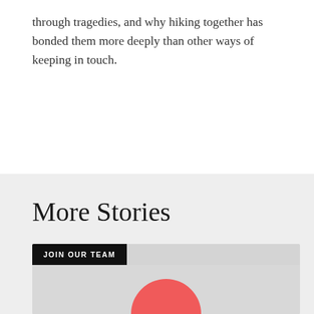through tragedies, and why hiking together has bonded them more deeply than other ways of keeping in touch.
More Stories
[Figure (illustration): A card with a black 'JOIN OUR TEAM' label banner at the top and a red semicircle shape at the bottom center on a light gray background.]